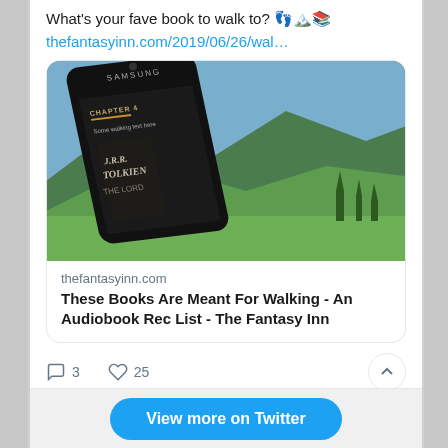What's your fave book to walk to? 👣🏔️📚
thefantasyinn.com/2019/06/26/wal…
[Figure (screenshot): Link preview card showing a Samsung smartphone displaying a Tolkien e-book chapter, set against a green mountain meadow background. Card includes domain 'thefantasyinn.com' and title 'These Books Are Meant For Walking - An Audiobook Rec List - The Fantasy Inn']
3  25
View more on Twitter